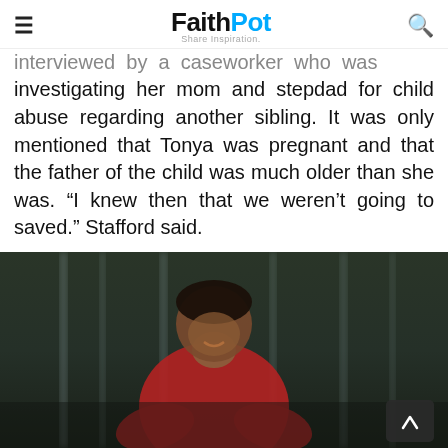FaithPot — Share Inspiration
interviewed by a caseworker who was investigating her mom and stepdad for child abuse regarding another sibling. It was only mentioned that Tonya was pregnant and that the father of the child was much older than she was. “I knew then that we weren’t going to saved.” Stafford said.
[Figure (photo): A smiling young woman in a red hoodie, photographed indoors with blurred vertical bars or poles in the background. A dark scroll-to-top button with an upward chevron is visible in the lower right corner.]